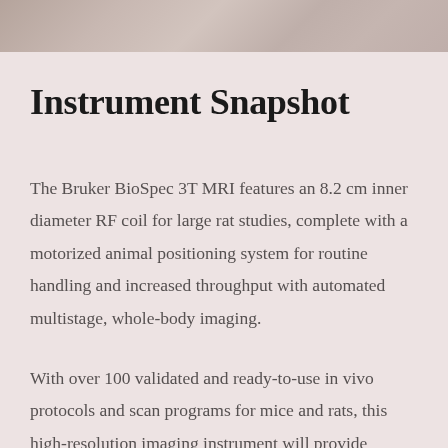[Figure (photo): Partial photo strip at the top of the page showing what appears to be laboratory/MRI equipment]
Instrument Snapshot
The Bruker BioSpec 3T MRI features an 8.2 cm inner diameter RF coil for large rat studies, complete with a motorized animal positioning system for routine handling and increased throughput with automated multistage, whole-body imaging.
With over 100 validated and ready-to-use in vivo protocols and scan programs for mice and rats, this high-resolution imaging instrument will provide